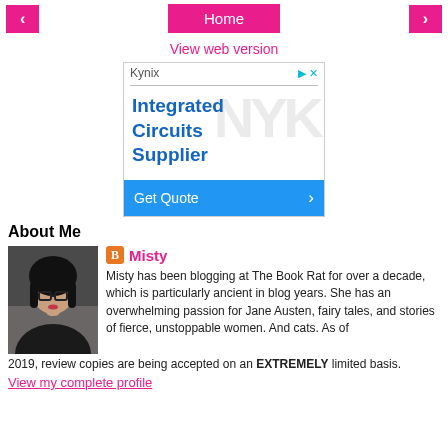< Home >
View web version
[Figure (screenshot): Advertisement for Kynix Integrated Circuits Supplier with Get Quote button]
About Me
[Figure (photo): Photo of Misty, a woman with dark hair and glasses]
Misty
Misty has been blogging at The Book Rat for over a decade, which is particularly ancient in blog years. She has an overwhelming passion for Jane Austen, fairy tales, and stories of fierce, unstoppable women. And cats. As of 2019, review copies are being accepted on an EXTREMELY limited basis.
View my complete profile